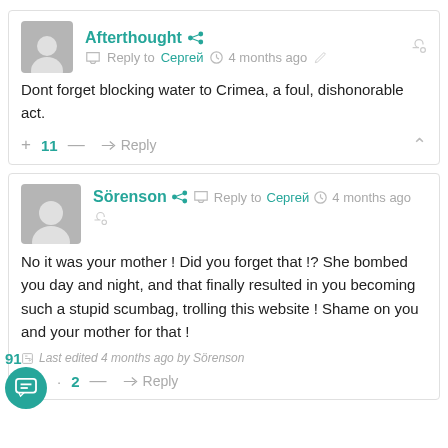Afterthought — Reply to Сергей — 4 months ago
Dont forget blocking water to Crimea, a foul, dishonorable act.
+ 11 — → Reply
Sörenson — Reply to Сергей — 4 months ago
No it was your mother ! Did you forget that !? She bombed you day and night, and that finally resulted in you becoming such a stupid scumbag, trolling this website ! Shame on you and your mother for that !
Last edited 4 months ago by Sörenson
91
· 2 — → Reply